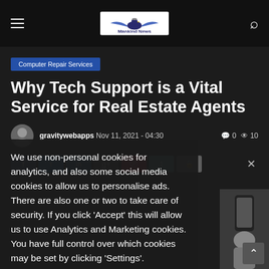Mankind News — navigation header with hamburger menu, logo, and search icon
Computer Repair Services
Why Tech Support is a Vital Service for Real Estate Agents
gravitywebapps  Nov 11, 2021 - 04:30   0   10
[Figure (screenshot): Social media share buttons: Facebook, Twitter, LinkedIn, Google+, Pinterest, Tumblr, VK, with close X button]
We use non-personal cookies for analytics, and also some social media cookies to allow us to personalise ads. There are also one or two to take care of security. If you click 'Accept' this will allow us to use Analytics and Marketing cookies. You have full control over which cookies may be set by clicking 'Settings'.